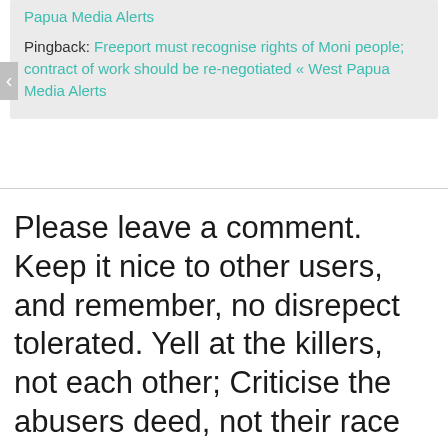Papua Media Alerts
Pingback: Freeport must recognise rights of Moni people; contract of work should be re-negotiated « West Papua Media Alerts
Please leave a comment. Keep it nice to other users, and remember, no disrepect tolerated. Yell at the killers, not each other; Criticise the abusers deed, not their race or faith.. And please keep it relevant and punchy.
Your email address will not be published. Required fields are marked